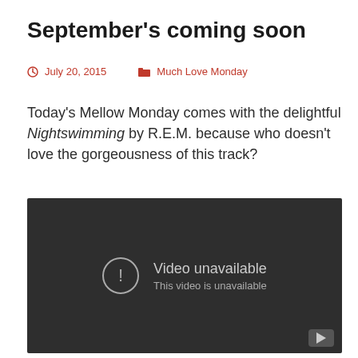September’s coming soon
July 20, 2015    Much Love Monday
Today’s Mellow Monday comes with the delightful Nightswimming by R.E.M. because who doesn’t love the gorgeousness of this track?
[Figure (screenshot): Embedded YouTube video player showing 'Video unavailable - This video is unavailable' message on a dark background]